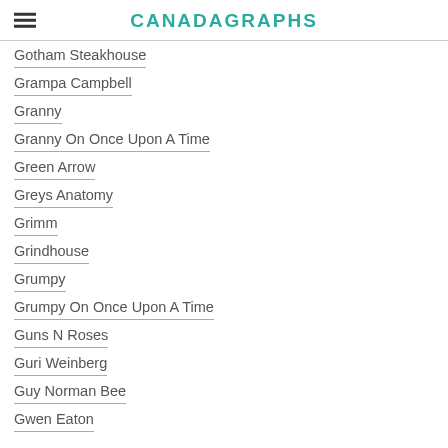CANADAGRAPHS
Gotham Steakhouse
Grampa Campbell
Granny
Granny On Once Upon A Time
Green Arrow
Greys Anatomy
Grimm
Grindhouse
Grumpy
Grumpy On Once Upon A Time
Guns N Roses
Guri Weinberg
Guy Norman Bee
Gwen Eaton